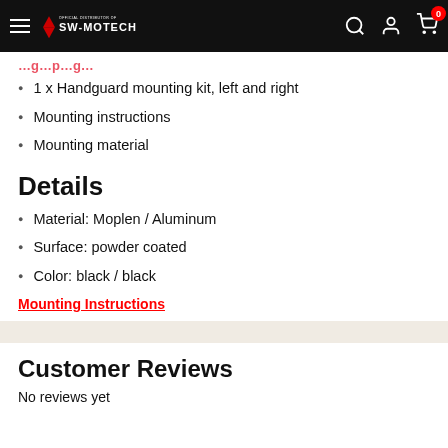SW-MOTECH
1 x Handguard mounting kit, left and right
Mounting instructions
Mounting material
Details
Material: Moplen / Aluminum
Surface: powder coated
Color: black / black
Mounting Instructions
Customer Reviews
No reviews yet